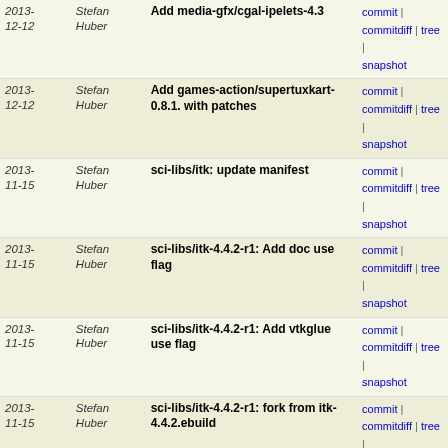| Date | Author | Message | Links |
| --- | --- | --- | --- |
| 2013-12-12 | Stefan Huber | Add media-gfx/cgal-ipelets-4.3 | commit | commitdiff | tree | snapshot |
| 2013-12-12 | Stefan Huber | Add games-action/supertuxkart-0.8.1. with patches | commit | commitdiff | tree | snapshot |
| 2013-11-15 | Stefan Huber | sci-libs/itk: update manifest | commit | commitdiff | tree | snapshot |
| 2013-11-15 | Stefan Huber | sci-libs/itk-4.4.2-r1: Add doc use flag | commit | commitdiff | tree | snapshot |
| 2013-11-15 | Stefan Huber | sci-libs/itk-4.4.2-r1: Add vtkglue use flag | commit | commitdiff | tree | snapshot |
| 2013-11-15 | Stefan Huber | sci-libs/itk-4.4.2-r1: fork from itk-4.4.2.ebuild | commit | commitdiff | tree | snapshot |
| 2013-11-14 | Stefan Huber | Add sci-libs/itk-4.4.2 from science overlay | commit | commitdiff | tree | snapshot |
| 2013-11-10 | Stefan Huber | remove libreoffice | commit | commitdiff | tree | snapshot |
| 2013-11-10 | Stefan Huber | add pycarddav-0.5.1 | commit | commitdiff | tree | snapshot |
| 2013-09-23 | Stefan Huber | add app-office/libreoffice-bin | commit | commitdiff | tree | snapshot |
| 2013-09-12 | Stefan Huber | Add metadata/layout.conf | commit | commitdiff | tree | snapshot |
| 2013-09-09 | Stefan Huber | Move dev-python/imaging to virtual/python-imaging | commit | commitdiff | tree | snapshot |
| 2013-09-09 | Stefan Huber | Add geogebra-4.1.120.0 | commit | commitdiff | tree | snapshot |